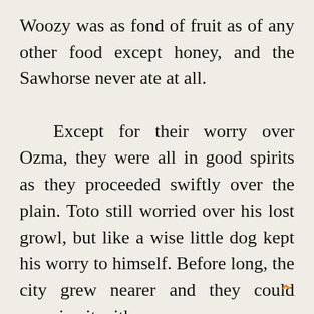Woozy was as fond of fruit as of any other food except honey, and the Sawhorse never ate at all.

Except for their worry over Ozma, they were all in good spirits as they proceeded swiftly over the plain. Toto still worried over his lost growl, but like a wise little dog kept his worry to himself. Before long, the city grew nearer and they could examine it with